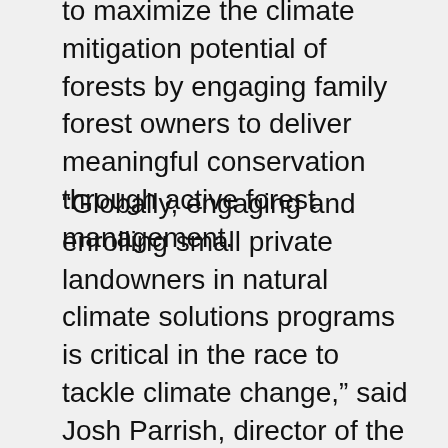to maximize the climate mitigation potential of forests by engaging family forest owners to deliver meaningful conservation through active forest management.
“Globally, engaging and enrolling small private landowners in natural climate solutions programs is critical in the race to tackle climate change,” said Josh Parrish, director of the American Forest Carbon Initiative at the Nature Conservancy. “Through a partnership between The Nature Conservancy and the American Forest Foundation, the Family Forest Carbon Program is providing small family forest owners in the U.S. with knowledge, incentives and new market